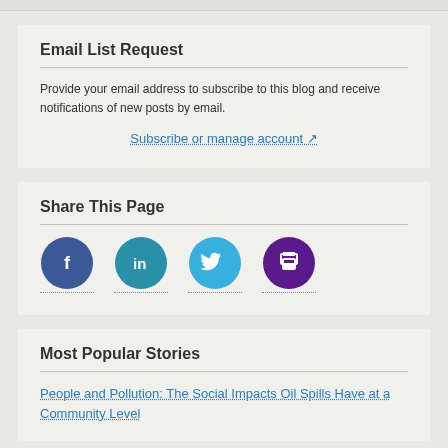Email List Request
Provide your email address to subscribe to this blog and receive notifications of new posts by email.
Subscribe or manage account (link)
Share This Page
[Figure (infographic): Four social sharing icons in circles: Facebook (dark blue), LinkedIn (teal), Twitter (light blue), Print (purple)]
Most Popular Stories
People and Pollution: The Social Impacts Oil Spills Have at a Community Level